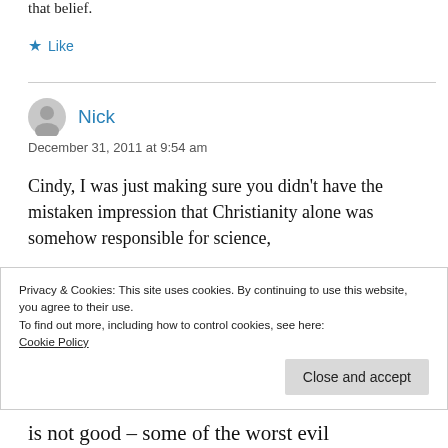that belief.
★ Like
Nick
December 31, 2011 at 9:54 am
Cindy, I was just making sure you didn't have the mistaken impression that Christianity alone was somehow responsible for science,
Privacy & Cookies: This site uses cookies. By continuing to use this website, you agree to their use.
To find out more, including how to control cookies, see here:
Cookie Policy
Close and accept
is not good – some of the worst evil